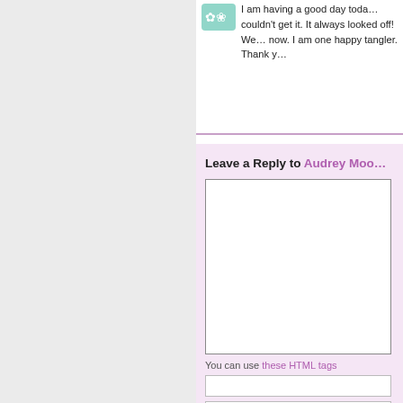I am having a good day toda… couldn't get it. It always looked off! We… now. I am one happy tangler. Thank y…
Leave a Reply to Audrey Moo…
You can use these HTML tags
Save my name, email, and…